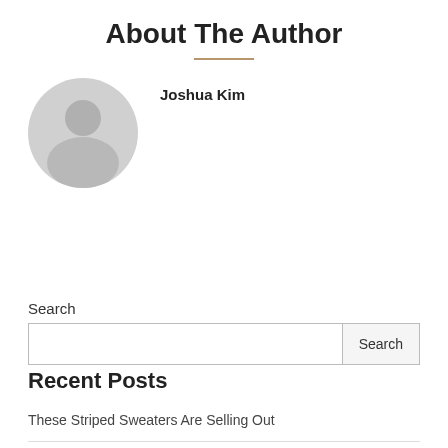About The Author
Joshua Kim
Search
Recent Posts
These Striped Sweaters Are Selling Out